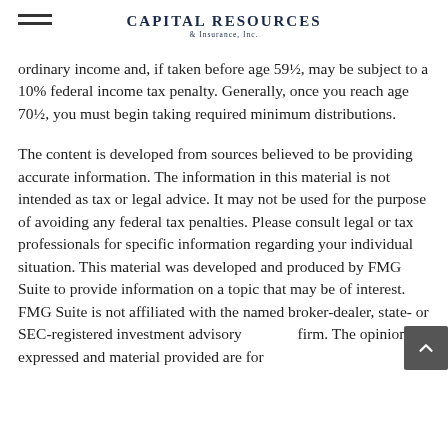Capital Resources & Insurance, Inc.
ordinary income and, if taken before age 59½, may be subject to a 10% federal income tax penalty. Generally, once you reach age 70½, you must begin taking required minimum distributions.
The content is developed from sources believed to be providing accurate information. The information in this material is not intended as tax or legal advice. It may not be used for the purpose of avoiding any federal tax penalties. Please consult legal or tax professionals for specific information regarding your individual situation. This material was developed and produced by FMG Suite to provide information on a topic that may be of interest. FMG Suite is not affiliated with the named broker-dealer, state- or SEC-registered investment advisory firm. The opinions expressed and material provided are for